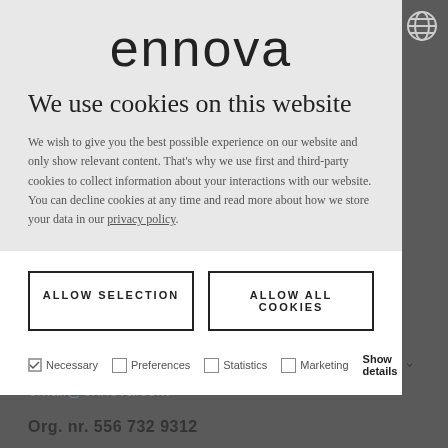[Figure (logo): Ennova company logo text in large sans-serif font]
We use cookies on this website
We wish to give you the best possible experience on our website and only show relevant content. That's why we use first and third-party cookies to collect information about your interactions with our website. You can decline cookies at any time and read more about how we store your data in our privacy policy.
ALLOW SELECTION
ALLOW ALL COOKIES
Necessary   Preferences   Statistics   Marketing   Show details
+46 (0) 8 949 070 00
email@ennova.com
Org. nr. 556 732 9312